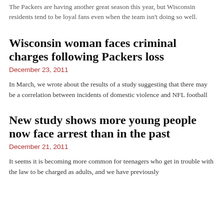The Packers are having another great season this year, but Wisconsin residents tend to be loyal fans even when the team isn't doing so well.
Wisconsin woman faces criminal charges following Packers loss
December 23, 2011
In March, we wrote about the results of a study suggesting that there may be a correlation between incidents of domestic violence and NFL football
New study shows more young people now face arrest than in the past
December 21, 2011
It seems it is becoming more common for teenagers who get in trouble with the law to be charged as adults, and we have previously